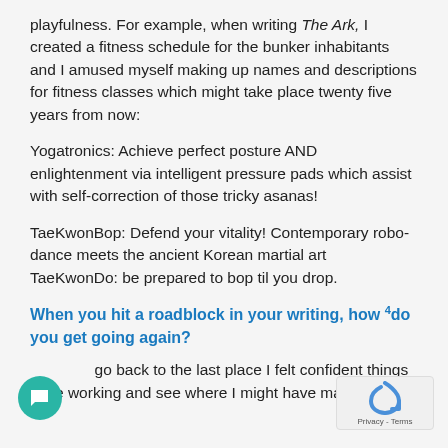playfulness. For example, when writing The Ark, I created a fitness schedule for the bunker inhabitants and I amused myself making up names and descriptions for fitness classes which might take place twenty five years from now:
Yogatronics: Achieve perfect posture AND enlightenment via intelligent pressure pads which assist with self-correction of those tricky asanas!
TaeKwonBop: Defend your vitality! Contemporary robo-dance meets the ancient Korean martial art TaeKwonDo: be prepared to bop til you drop.
When you hit a roadblock in your writing, how 4do you get going again?
go back to the last place I felt confident things were working and see where I might have made a